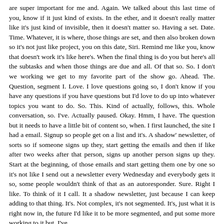are super important for me and. Again. We talked about this last time of you, know if it just kind of exists. In the ether, and it doesn't really matter like it's just kind of invisible, then it doesn't matter so. Having a set. Date. Time. Whatever, it is where, those things are set, and then also broken down so it's not just like project, you on this date, Siri. Remind me like you, know that doesn't work it's like here's. When the final thing is do you but here's all the subtasks and when those things are due and all. Of that so. So. I don't we working we get to my favorite part of the show go. Ahead. The. Question, segment I. Love. I love questions going so, I don't know if you have any questions if you have questions but I'd love to do up into whatever topics you want to do. So. This. Kind of actually, follows, this. Whole conversation, so. I've. Actually paused. Okay. Hmm, I have. The question but it needs to have a little bit of content so, when. I first launched, the site I had a email. Signup so people get on a list and it's. A shadow' newsletter, of sorts so if someone signs up they, start getting the emails and then if like after two weeks after that person, signs up another person signs up they. Start at the beginning, of those emails and start getting them one by one so it's not like I send out a newsletter every Wednesday and everybody gets it so, some people wouldn't think of that as an autoresponder. Sure. Right I like. To think of it I call. It a shadow newsletter, just because I can keep adding to that thing. It's. Not complex, it's not segmented. It's, just what it is right now in, the future I'd like it to be more segmented, and put some more working to it but, I've.
Put That on I've, put, adding to it on pause because I've been sending out an. Actual, broadcast email, at the end of the week went, so tomorrow I'll do. The next page and then, I'll write up a quick email saying hey the next one is up go check it out and so that's kind of like people at the end, of, it right and, for people at the beginning they're getting this kind, of weekly email, and. I started thinking about it the other day and I was like let's a certain, point, the. Content, adding